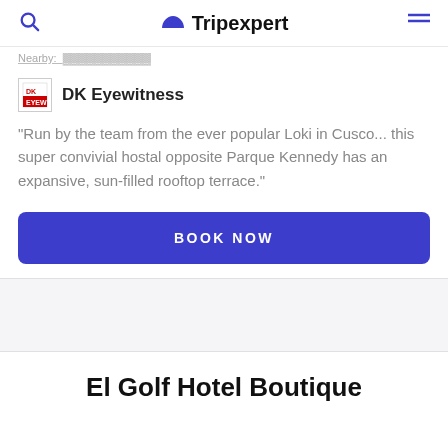Tripexpert
Nearby: [truncated link]
DK Eyewitness
"Run by the team from the ever popular Loki in Cusco... this super convivial hostal opposite Parque Kennedy has an expansive, sun-filled rooftop terrace."
BOOK NOW
El Golf Hotel Boutique